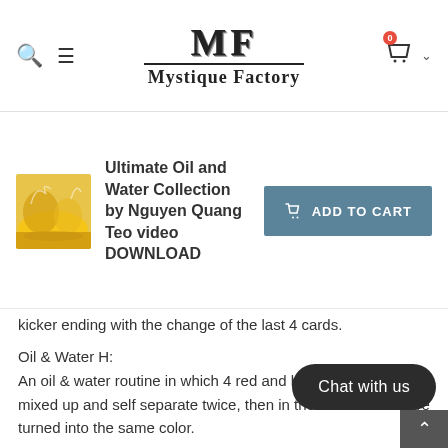Mystique Factory — MF logo with search, menu, and cart icons
[Figure (screenshot): Product thumbnail image showing oil and water visual with yellow/gold liquid]
Ultimate Oil and Water Collection by Nguyen Quang Teo video DOWNLOAD
ADD TO CART
kicker ending with the change of the last 4 cards.
Oil & Water H:
An oil & water routine in which 4 red and black cards are mixed up and self separate twice, then in the end all cards are turned into the same color.
Impromptu